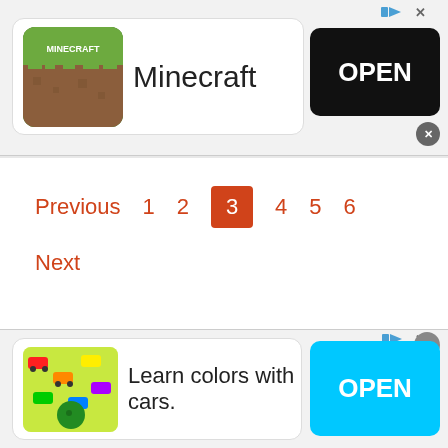[Figure (screenshot): Minecraft app advertisement banner with app icon, name, and OPEN button]
Previous  1  2  3  4  5  6
Next
2244 Noyac Road, Sag Harbor
[Figure (screenshot): Learn colors with cars advertisement banner with app icon, text, and OPEN button]